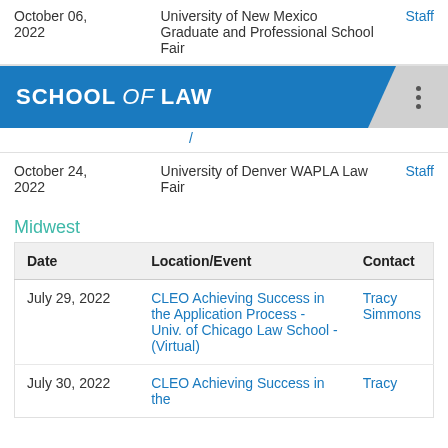| Date | Location/Event | Contact |
| --- | --- | --- |
| October 06, 2022 | University of New Mexico Graduate and Professional School Fair | Staff |
[Figure (logo): School of Law header banner with blue background]
| Date | Location/Event | Contact |
| --- | --- | --- |
| October 24, 2022 | University of Denver WAPLA Law Fair | Staff |
Midwest
| Date | Location/Event | Contact |
| --- | --- | --- |
| July 29, 2022 | CLEO Achieving Success in the Application Process - Univ. of Chicago Law School - (Virtual) | Tracy Simmons |
| July 30, 2022 | CLEO Achieving Success in the | Tracy |